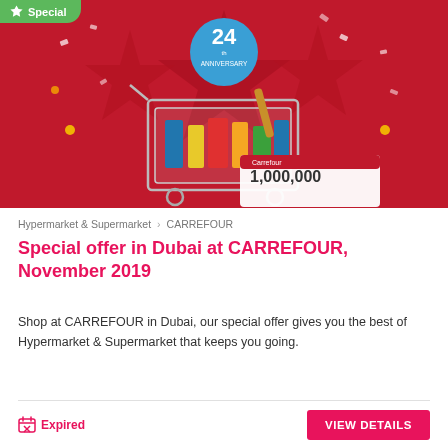[Figure (photo): Carrefour 24th anniversary promotional image showing a shopping cart full of groceries on a red background with star decorations and a prize card showing 1,000,000]
Hypermarket & Supermarket > CARREFOUR
Special offer in Dubai at CARREFOUR, November 2019
Shop at CARREFOUR in Dubai, our special offer gives you the best of Hypermarket & Supermarket that keeps you going.
Expired
VIEW DETAILS